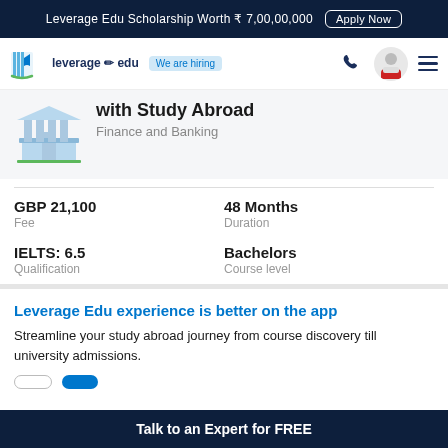Leverage Edu Scholarship Worth ₹ 7,00,00,000   Apply Now
[Figure (logo): Leverage Edu logo with stylized book/rocket icon and 'We are hiring' badge]
with Study Abroad
Finance and Banking
GBP 21,100
Fee
48 Months
Duration
IELTS: 6.5
Qualification
Bachelors
Course level
Leverage Edu experience is better on the app
Streamline your study abroad journey from course discovery till university admissions.
Talk to an Expert for FREE